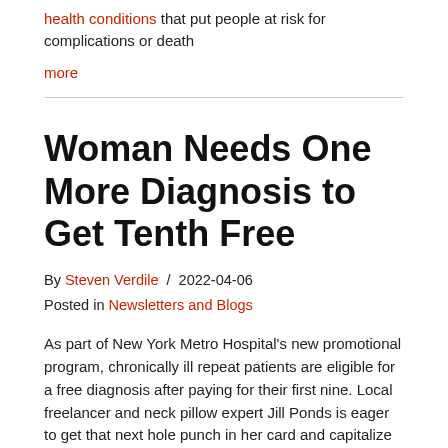health conditions that put people at risk for complications or death
more
Woman Needs One More Diagnosis to Get Tenth Free
By Steven Verdile / 2022-04-06
Posted in Newsletters and Blogs
As part of New York Metro Hospital's new promotional program, chronically ill repeat patients are eligible for a free diagnosis after paying for their first nine. Local freelancer and neck pillow expert Jill Ponds is eager to get that next hole punch in her card and capitalize on the freebie.